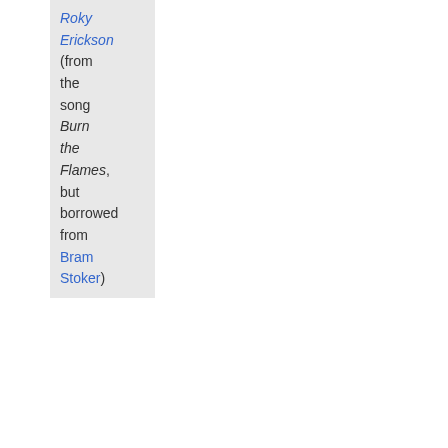Roky Erickson (from the song Burn the Flames, but borrowed from Bram Stoker)
The Batcave opened in London with the idea of reinventing glam rock with a darker mood. As it happened, this was exactly what many of the goth bands were doing at the time. As the news spread, more goth clubs sprang up, first in England, but soon around the world.
The Batcave was home for Specimen, a campy glam-rock